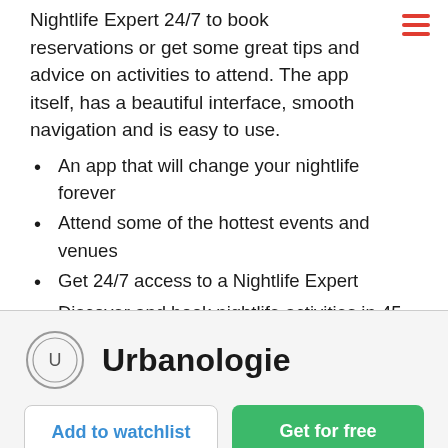Nightlife Expert 24/7 to book reservations or get some great tips and advice on activities to attend. The app itself, has a beautiful interface, smooth navigation and is easy to use.
An app that will change your nightlife forever
Attend some of the hottest events and venues
Get 24/7 access to a Nightlife Expert
Discover and book nightlife activities in 45 cities
Upgraded tables, Points for future purchases, Exclusive invites
[Figure (logo): Urbanologie logo: circle with U inside, followed by bold text Urbanologie]
Add to watchlist | Get for free